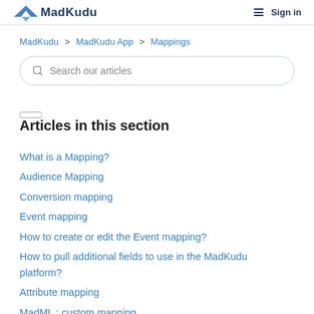MadKudu  Sign in
MadKudu > MadKudu App > Mappings
Search our articles
Articles in this section
What is a Mapping?
Audience Mapping
Conversion mapping
Event mapping
How to create or edit the Event mapping?
How to pull additional fields to use in the MadKudu platform?
Attribute mapping
MadML : custom mapping